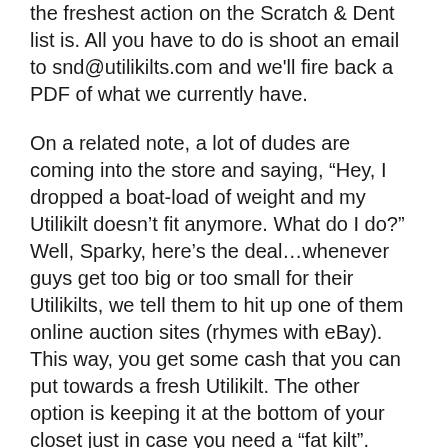the freshest action on the Scratch & Dent list is. All you have to do is shoot an email to snd@utilikilts.com and we'll fire back a PDF of what we currently have.
On a related note, a lot of dudes are coming into the store and saying, “Hey, I dropped a boat-load of weight and my Utilikilt doesn’t fit anymore. What do I do?” Well, Sparky, here’s the deal…whenever guys get too big or too small for their Utilikilts, we tell them to hit up one of them online auction sites (rhymes with eBay). This way, you get some cash that you can put towards a fresh Utilikilt. The other option is keeping it at the bottom of your closet just in case you need a “fat kilt”.